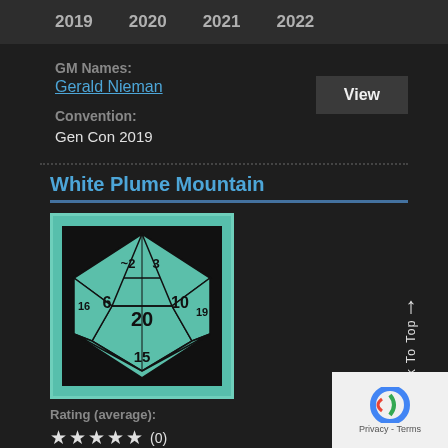2019  2020  2021  2022
GM Names:
Gerald Nieman
Convention:
Gen Con 2019
View
White Plume Mountain
[Figure (illustration): A teal/green d20 (twenty-sided die) icon showing faces with numbers 2, 3, 6, 10, 15, 16, 19, 20 on a black background, bordered in teal.]
Rating (average):
★ ★ ★ ★ ★ (0)